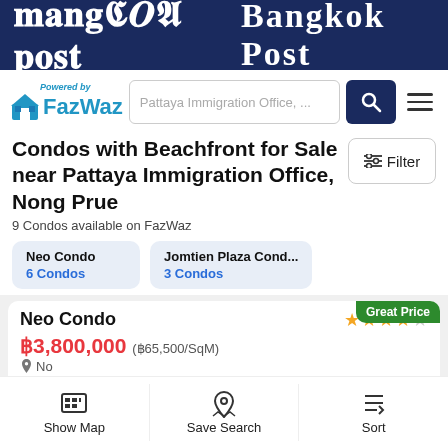Bangkok Post
[Figure (logo): FazWaz logo with house icon and search bar showing 'Pattaya Immigration Office, ...']
Condos with Beachfront for Sale near Pattaya Immigration Office, Nong Prue
9 Condos available on FazWaz
Neo Condo
6 Condos
Jomtien Plaza Cond...
3 Condos
Neo Condo ★★★★☆ Great Price ฿3,800,000 (฿65,500/SqM) No...
Show Map | Save Search | Sort